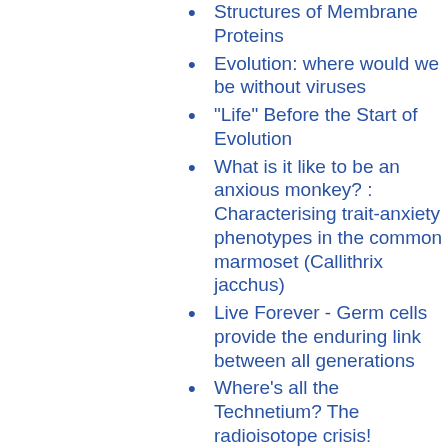Structures of Membrane Proteins
Evolution: where would we be without viruses
"Life" Before the Start of Evolution
What is it like to be an anxious monkey? : Characterising trait-anxiety phenotypes in the common marmoset (Callithrix jacchus)
Live Forever - Germ cells provide the enduring link between all generations
Where's all the Technetium? The radioisotope crisis!
Next generation sequencing facilitates the interpretation of the human genome.
The Human Genome: from 1 to 1,000, and back to 1.